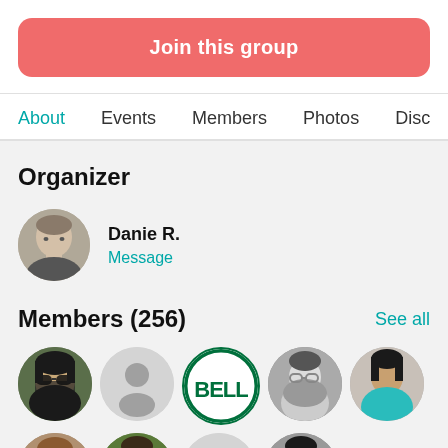Join this group
About  Events  Members  Photos  Disc
Organizer
Danie R.
Message
Members (256)
See all
[Figure (photo): Row of 5 circular member avatars including a woman with sunglasses, a placeholder icon, a BELL logo, a person in grayscale, and a woman in teal top]
[Figure (photo): Partial row of circular member avatars at bottom edge]